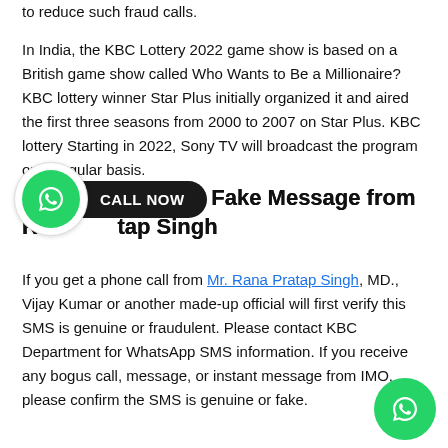to reduce such fraud calls.
In India, the KBC Lottery 2022 game show is based on a British game show called Who Wants to Be a Millionaire? KBC lottery winner Star Plus initially organized it and aired the first three seasons from 2000 to 2007 on Star Plus. KBC lottery Starting in 2022, Sony TV will broadcast the program on a regular basis.
[Figure (other): WhatsApp Call Now button overlay with green WhatsApp icon and black pill-shaped CALL NOW label]
KBC Winner 2022 Fake Message from Rana Pratap Singh
If you get a phone call from Mr. Rana Pratap Singh, MD., Vijay Kumar or another made-up official will first verify this SMS is genuine or fraudulent. Please contact KBC Department for WhatsApp SMS information. If you receive any bogus call, message, or instant message from IMO, please confirm the SMS is genuine or fake.
[Figure (other): WhatsApp green circular button in bottom right corner]